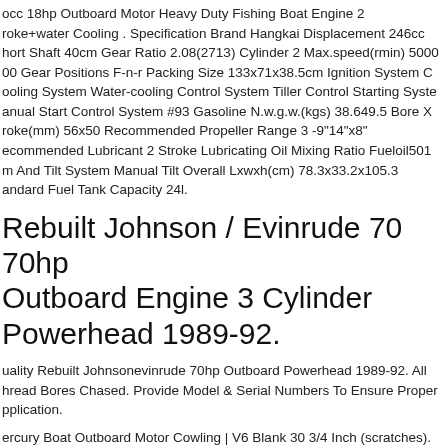occ 18hp Outboard Motor Heavy Duty Fishing Boat Engine 2 roke+water Cooling . Specification Brand Hangkai Displacement 246cc hort Shaft 40cm Gear Ratio 2.08(2713) Cylinder 2 Max.speed(rmin) 5000 00 Gear Positions F-n-r Packing Size 133x71x38.5cm Ignition System C ooling System Water-cooling Control System Tiller Control Starting Syste anual Start Control System #93 Gasoline N.w.g.w.(kgs) 38.649.5 Bore X roke(mm) 56x50 Recommended Propeller Range 3 -9"14"x8" ecommended Lubricant 2 Stroke Lubricating Oil Mixing Ratio Fueloil501 m And Tilt System Manual Tilt Overall Lxwxh(cm) 78.3x33.2x105.3 andard Fuel Tank Capacity 24l.
Rebuilt Johnson / Evinrude 70 70hp Outboard Engine 3 Cylinder Powerhead 1989-92.
uality Rebuilt Johnsonevinrude 70hp Outboard Powerhead 1989-92. All hread Bores Chased. Provide Model & Serial Numbers To Ensure Proper pplication.
ercury Boat Outboard Motor Cowling | V6 Blank 30 3/4 Inch (scratches). his Cowling Features A "v6" Latch But We Are Unable To Confirm What odel Or Horsepower Motor This Cowling Fits. This Top Cowling Is